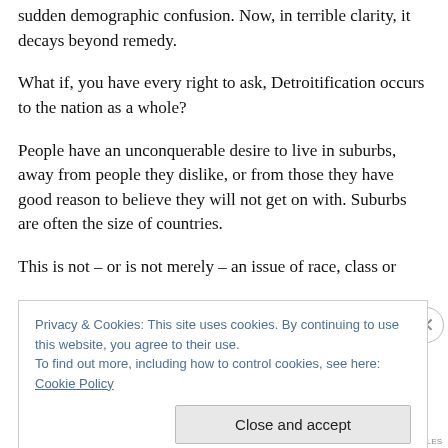sudden demographic confusion. Now, in terrible clarity, it decays beyond remedy.
What if, you have every right to ask, Detroitification occurs to the nation as a whole?
People have an unconquerable desire to live in suburbs, away from people they dislike, or from those they have good reason to believe they will not get on with. Suburbs are often the size of countries.
This is not – or is not merely – an issue of race, class or
Privacy & Cookies: This site uses cookies. By continuing to use this website, you agree to their use.
To find out more, including how to control cookies, see here: Cookie Policy
Close and accept